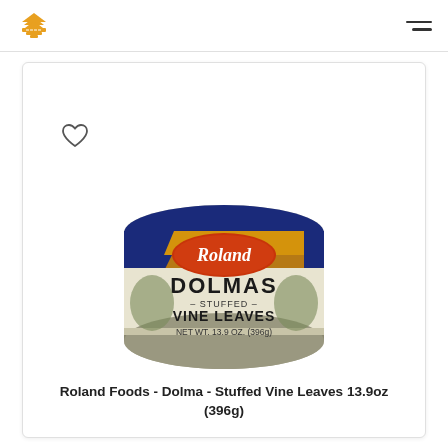[Figure (photo): Roland Foods Dolmas Stuffed Vine Leaves 13.9oz (396g) can product photo]
Roland Foods - Dolma - Stuffed Vine Leaves 13.9oz (396g)